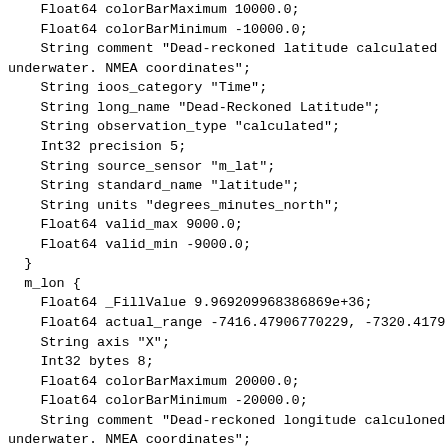Float64 colorBarMaximum 10000.0;
    Float64 colorBarMinimum -10000.0;
    String comment "Dead-reckoned latitude calculated
ununderwater. NMEA coordinates";
    String ioos_category "Time";
    String long_name "Dead-Reckoned Latitude";
    String observation_type "calculated";
    Int32 precision 5;
    String source_sensor "m_lat";
    String standard_name "latitude";
    String units "degrees_minutes_north";
    Float64 valid_max 9000.0;
    Float64 valid_min -9000.0;
  }
  m_lon {
    Float64 _FillValue 9.969209968386869e+36;
    Float64 actual_range -7416.47906770229, -7320.4179
    String axis "X";
    Int32 bytes 8;
    Float64 colorBarMaximum 20000.0;
    Float64 colorBarMinimum -20000.0;
    String comment "Dead-reckoned longitude calculoned
ununderwater. NMEA coordinates";
    String ioos_category "Time";
    String long_name "Dead-Reckoned Longitude";
    String observation_type "calculated";